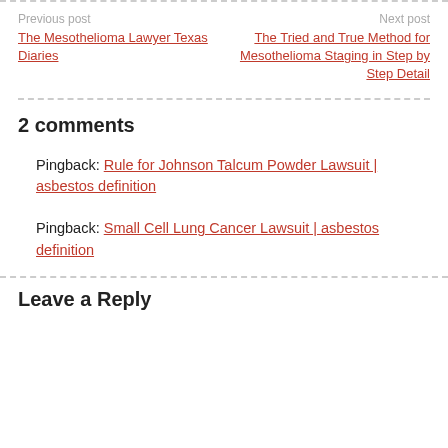Previous post | The Mesothelioma Lawyer Texas Diaries | Next post | The Tried and True Method for Mesothelioma Staging in Step by Step Detail
2 comments
Pingback: Rule for Johnson Talcum Powder Lawsuit | asbestos definition
Pingback: Small Cell Lung Cancer Lawsuit | asbestos definition
Leave a Reply